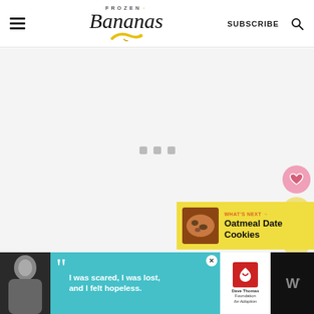Frozen Bananas — SUBSCRIBE
[Figure (screenshot): Loading content area with three grey square loading dots on light grey background]
[Figure (infographic): Heart/like button (pink circle), count of 4 (yellow circle), and share button (yellow circle) on the right side]
[Figure (infographic): What's Next widget showing Oatmeal Date Cookies with food thumbnail on yellow background]
[Figure (screenshot): Advertisement banner: black and white photo of woman, teal background with quote 'I was scared, I was lost, and I felt hopeless.', Dave Thomas Foundation for Adoption logo, and W° brand logo]